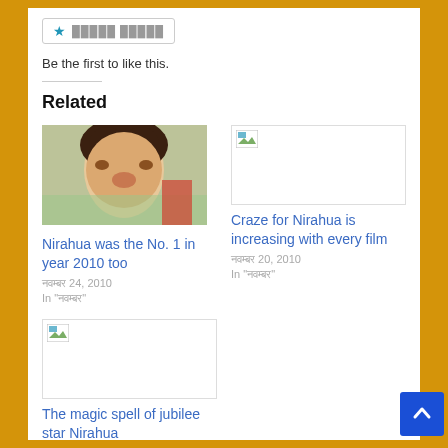[Figure (other): Like button with star icon and Hindi text]
Be the first to like this.
Related
[Figure (photo): Photo of Nirahua (Bollywood actor), smiling man with dark curly hair]
Nirahua was the No. 1 in year 2010 too
नवम्बर 24, 2010
In "नवम्बर"
[Figure (photo): Broken image placeholder]
Craze for Nirahua is increasing with every film
नवम्बर 20, 2010
In "नवम्बर"
[Figure (photo): Broken image placeholder (second)]
The magic spell of jubilee star Nirahua
नवम्बर 7, 2011